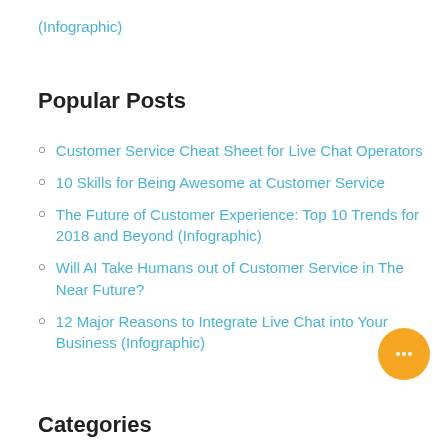(Infographic)
Popular Posts
Customer Service Cheat Sheet for Live Chat Operators
10 Skills for Being Awesome at Customer Service
The Future of Customer Experience: Top 10 Trends for 2018 and Beyond (Infographic)
Will AI Take Humans out of Customer Service in The Near Future?
12 Major Reasons to Integrate Live Chat into Your Business (Infographic)
Categories